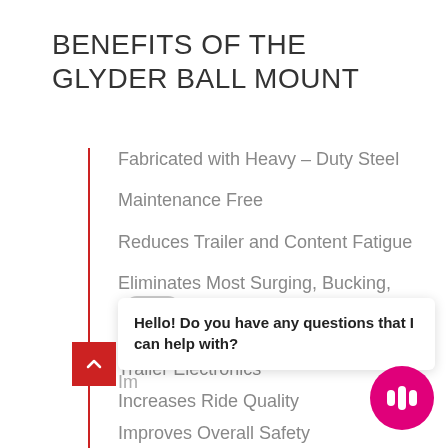BENEFITS OF THE GLYDER BALL MOUNT
Fabricated with Heavy – Duty Steel
Maintenance Free
Reduces Trailer and Content Fatigue
Eliminates Most Surging, Bucking, and Improves Trailer Electronics
Increases Ride Quality
Improves Overall Safety
Hello! Do you have any questions that I can help with?